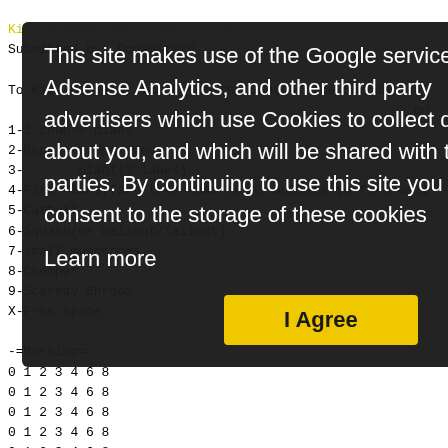Kill Bungees and create a fort:
Submitted by: Dcneostar6

To Kill Bungees, Ice Shoomers, Squash, Ice Shroom, Jal
...on
1-1 choose plant
2-Repeater/Upgraded
3-... plant(3 lanes)
4-Fire Plant(fire tree that turns bullets to fire ball
5-Cattail
6-Squash(or Wallnut/Tallnut)
7-small mushrooms
8-Chomper
9-Scaredy Shroom
X-Free Space

-=Morning=-
0 1 2 3 4 6 8
0 1 2 3 4 6 8
0 1 2 3 4 6 8
0 1 2 3 4 6 8
0 1 2 3 4 6 8

-=Night=-
0 2 3 4 9 X 7 7 7 6
This site makes use of the Google services Adsense Analytics, and other third party advertisers which use Cookies to collect data about you, and which will be shared with third parties. By continuing to use this site you consent to the storage of these cookies
Learn more
I Agree